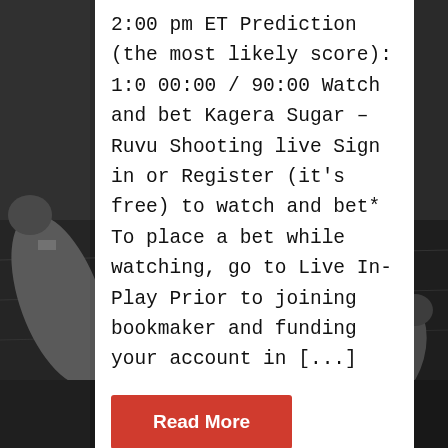[Figure (photo): Black and white photograph of American football players in action, used as full-page background]
2:00 pm ET Prediction (the most likely score): 1:0 00:00 / 90:00 Watch and bet Kagera Sugar – Ruvu Shooting live Sign in or Register (it's free) to watch and bet* To place a bet while watching, go to Live In-Play Prior to joining bookmaker and funding your account in [...]
Read More
Polisi Tanzania